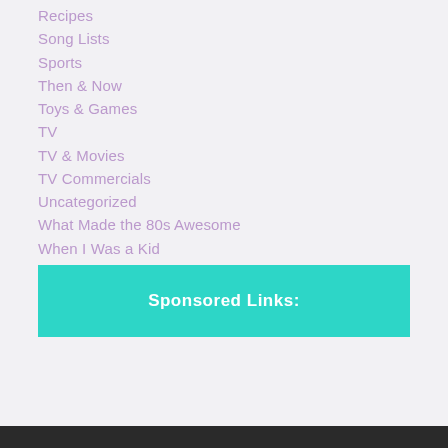Recipes
Song Lists
Sports
Then & Now
Toys & Games
TV
TV & Movies
TV Commercials
Uncategorized
What Made the 80s Awesome
When I Was a Kid
Women's Costume Ideas
Women's Fashion
Sponsored Links: